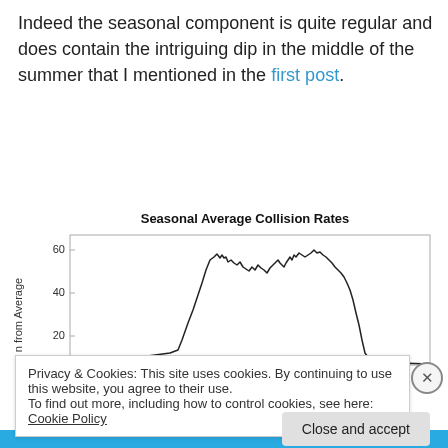Indeed the seasonal component is quite regular and does contain the intriguing dip in the middle of the summer that I mentioned in the first post.
[Figure (continuous-plot): Line chart showing seasonal average collision rates over time. The line starts low, rises steeply to a peak around 50-60, dips slightly in the middle of summer, peaks again near 60, then drops sharply back down. Y-axis labels: 20, 40, 60.]
Privacy & Cookies: This site uses cookies. By continuing to use this website, you agree to their use.
To find out more, including how to control cookies, see here: Cookie Policy